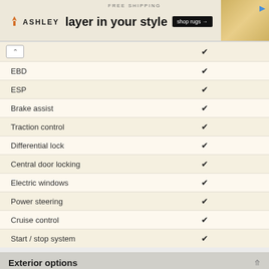[Figure (other): Ashley Furniture advertisement banner: FREE SHIPPING, 'layer in your style', shop rugs button, decorative rug imagery]
| Feature | Included |
| --- | --- |
| (collapsed row) | ✔ |
| EBD | ✔ |
| ESP | ✔ |
| Brake assist | ✔ |
| Traction control | ✔ |
| Differential lock | ✔ |
| Central door locking | ✔ |
| Electric windows | ✔ |
| Power steering | ✔ |
| Cruise control | ✔ |
| Start / stop system | ✔ |
Exterior options
| Feature | Included |
| --- | --- |
| Metallic paint | ✔ |
| Rear privacy glass | ✔ |
| Folding door mirrors | ✔ |